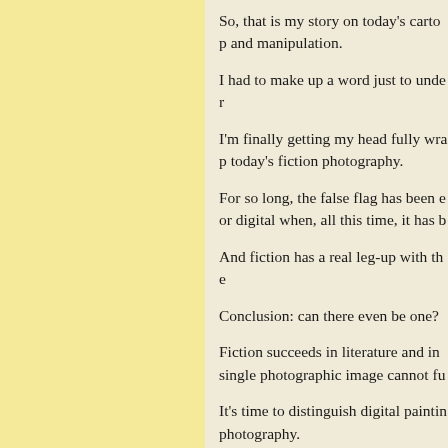So, that is my story on today's cartop and manipulation.
I had to make up a word just to unde…
I'm finally getting my head fully wra… today's fiction photography.
For so long, the false flag has been e… or digital when, all this time, it has b…
And fiction has a real leg-up with the…
Conclusion: can there even be one?
Fiction succeeds in literature and in … single photographic image cannot fu…
It's time to distinguish digital paintin… photography.
They are different vehicles.
If we can deal with the differenc…